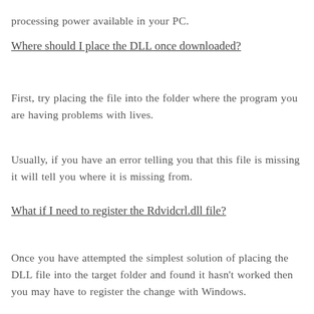processing power available in your PC.
Where should I place the DLL once downloaded?
First, try placing the file into the folder where the program you are having problems with lives.
Usually, if you have an error telling you that this file is missing it will tell you where it is missing from.
What if I need to register the Rdvidcrl.dll file?
Once you have attempted the simplest solution of placing the DLL file into the target folder and found it hasn't worked then you may have to register the change with Windows.
To do this you can save the DLL file to the